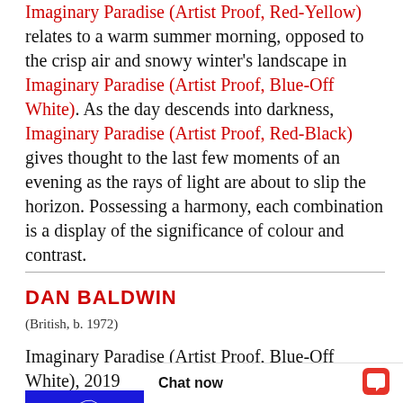Imaginary Paradise (Artist Proof, Red-Yellow) relates to a warm summer morning, opposed to the crisp air and snowy winter's landscape in Imaginary Paradise (Artist Proof, Blue-Off White). As the day descends into darkness, Imaginary Paradise (Artist Proof, Red-Black) gives thought to the last few moments of an evening as the rays of light are about to slip the horizon. Possessing a harmony, each combination is a display of the significance of colour and contrast.
DAN BALDWIN
(British, b. 1972)
Imaginary Paradise (Artist Proof, Blue-Off White), 2019
[Figure (photo): Blue screenprint with white floral/botanical line art pattern]
4 colour screenprint with hand-torn edge